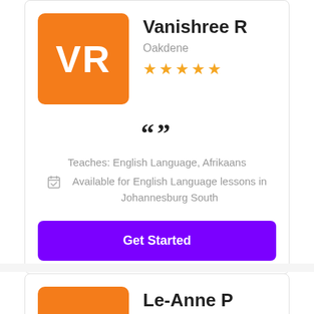[Figure (illustration): Orange square avatar with white letters VR]
Vanishree R
Oakdene
[Figure (other): 5 gold star rating]
[Figure (other): Large quotation mark symbols]
Teaches: English Language, Afrikaans
Available for English Language lessons in Johannesburg South
Get Started
[Figure (illustration): Orange square avatar partially visible, second card]
Le-Anne P